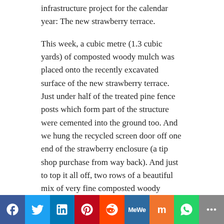infrastructure project for the calendar year: The new strawberry terrace.
This week, a cubic metre (1.3 cubic yards) of composted woody mulch was placed onto the recently excavated surface of the new strawberry terrace. Just under half of the treated pine fence posts which form part of the structure were cemented into the ground too. And we hung the recycled screen door off one end of the strawberry enclosure (a tip shop purchase from way back). And just to top it all off, two rows of a beautiful mix of very fine composted woody mulch (not the usual and more coarse woody mulch) and mushroom compost were laid out in the enclosure. By the next blog we are hoping to have at least some strawberry plants in that glorious compost mix.
[Figure (infographic): Social media share buttons bar: Facebook, Twitter, LinkedIn, Pinterest, Reddit, MeWe, Mix, WhatsApp, More]